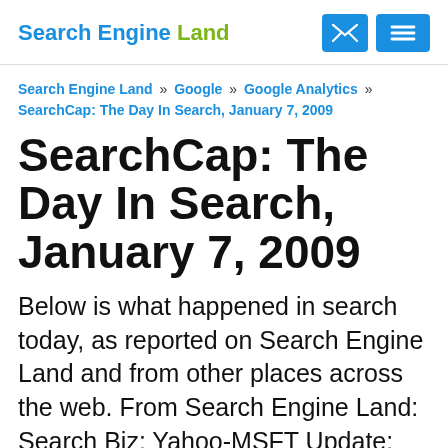Search Engine Land
Search Engine Land » Google » Google Analytics » SearchCap: The Day In Search, January 7, 2009
SearchCap: The Day In Search, January 7, 2009
Below is what happened in search today, as reported on Search Engine Land and from other places across the web. From Search Engine Land: Search Biz: Yahoo-MSFT Update: Google's 20% Time